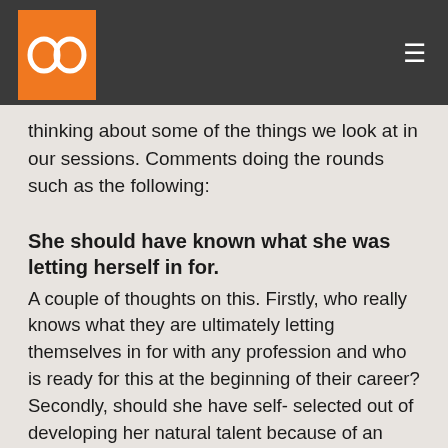bc [logo]
thinking about some of the things we look at in our sessions. Comments doing the rounds such as the following:
She should have known what she was letting herself in for.
A couple of thoughts on this. Firstly, who really knows what they are ultimately letting themselves in for with any profession and who is ready for this at the beginning of their career? Secondly, should she have self- selected out of developing her natural talent because of an arbitrary and old fashioned requirement to speak in public when she got to the top of her game? Unfortunately, I have seen many people (often but not exclusively women) decide early on their careers that they will not go on to be a